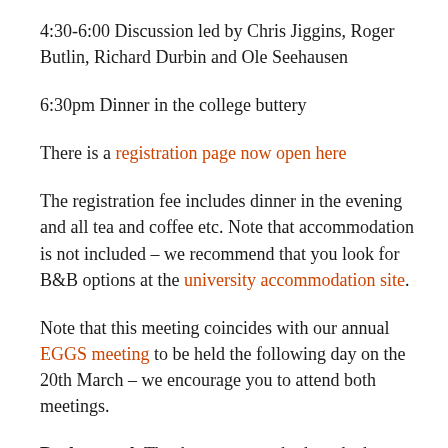4:30-6:00 Discussion led by Chris Jiggins, Roger Butlin, Richard Durbin and Ole Seehausen
6:30pm Dinner in the college buttery
There is a registration page now open here
The registration fee includes dinner in the evening and all tea and coffee etc. Note that accommodation is not included – we recommend that you look for B&B options at the university accommodation site.
Note that this meeting coincides with our annual EGGS meeting to be held the following day on the 20th March – we encourage you to attend both meetings.
Background: Thanks to new methods and advances in sequencing technology, generating genomic data for speciation research has never been so affordable, accessible